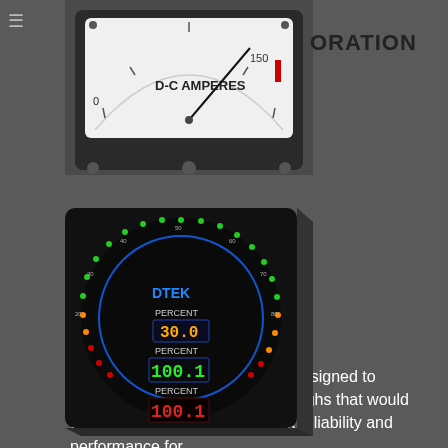[Figure (photo): Analog D-C Amperes meter with needle pointing near 150, white dial face, black casing]
[Figure (photo): DTEK digital/LED circular gauge instrument showing PERCENT readings: 30.0 in blue display, 100.1 in green display, 100.1 in red display, with multi-color LED ring indicators, mounted in black square enclosure]
The Westinghouse KX241 was designed to harness technological breakthroughs that would allow the meter to achieve peak reliability and performance for